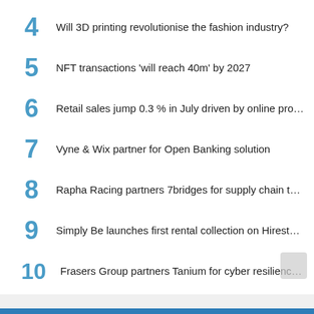4  Will 3D printing revolutionise the fashion industry?
5  NFT transactions 'will reach 40m' by 2027
6  Retail sales jump 0.3 % in July driven by online pro...
7  Vyne & Wix partner for Open Banking solution
8  Rapha Racing partners 7bridges for supply chain t...
9  Simply Be launches first rental collection on Hirest...
10  Frasers Group partners Tanium for cyber resilienc...